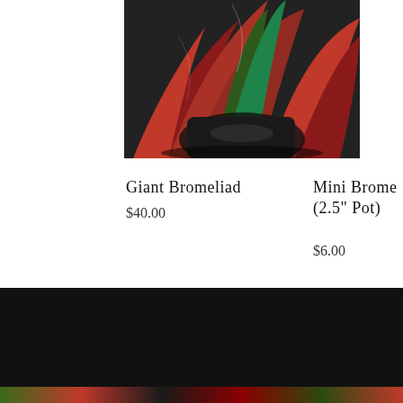[Figure (photo): Photograph of Giant Bromeliad plant with red and green leaves in a dark pot, viewed from above in bright sunlight]
Giant Bromeliad
$40.00
Mini Brome
(2.5" Pot)
$6.00
Next: Bromeliad Aechmea Greg →